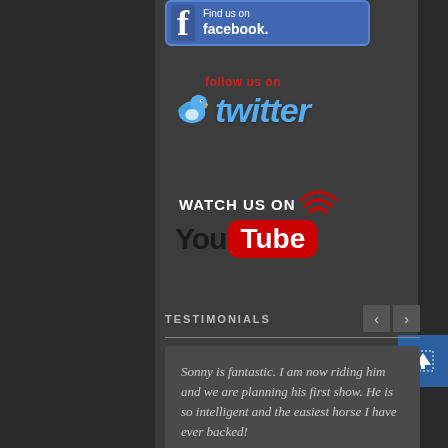[Figure (logo): Facebook logo with 'Find us on facebook.' text on blue background]
[Figure (logo): Twitter logo with bird icon and 'follow us on twitter' text in blue italic font with red 'follow us on' text]
[Figure (logo): YouTube logo with 'WATCH US ON' text above 'You' in black and 'Tube' in white on red rounded rectangle, with red signal/wifi arcs]
TESTIMONIALS
Sonny is fantastic.  I am now riding him and we are planning his first show.  He is so intelligent and the easiest horse I have ever backed!
Liz North